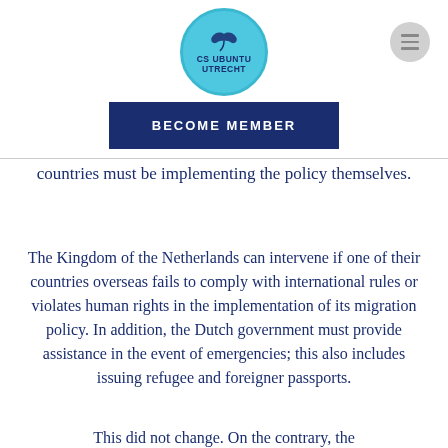[Figure (logo): CS Ubuntu Utrecht logo — circular teal badge with a dove/bird silhouette and text CS UBUNTU UTRECHT]
[Figure (other): Hamburger menu icon — grey circle with three horizontal lines]
BECOME MEMBER
countries must be implementing the policy themselves.
The Kingdom of the Netherlands can intervene if one of their countries overseas fails to comply with international rules or violates human rights in the implementation of its migration policy. In addition, the Dutch government must provide assistance in the event of emergencies; this also includes issuing refugee and foreigner passports.
This did not change. On the contrary, the